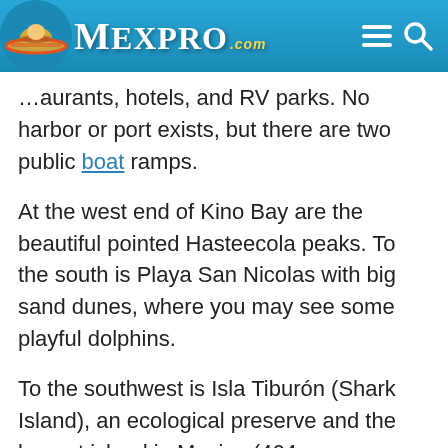Mexpro.com
…aurants, hotels, and RV parks. No harbor or port exists, but there are two public boat ramps.
At the west end of Kino Bay are the beautiful pointed Hasteecola peaks. To the south is Playa San Nicolas with big sand dunes, where you may see some playful dolphins.
To the southwest is Isla Tiburón (Shark Island), an ecological preserve and the largest island in Mexico (464 square miles). The Seri Indians lived there for centuries, but it is currently uninhabited. Big horn…